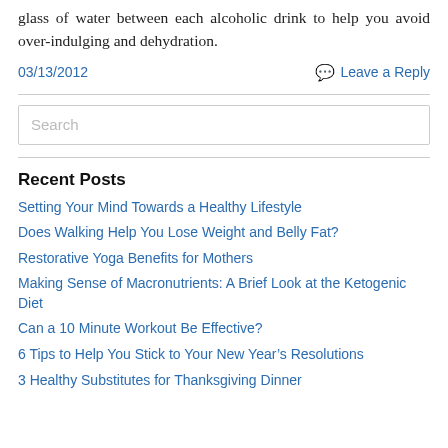glass of water between each alcoholic drink to help you avoid over-indulging and dehydration.
03/13/2012    Leave a Reply
Search
Recent Posts
Setting Your Mind Towards a Healthy Lifestyle
Does Walking Help You Lose Weight and Belly Fat?
Restorative Yoga Benefits for Mothers
Making Sense of Macronutrients: A Brief Look at the Ketogenic Diet
Can a 10 Minute Workout Be Effective?
6 Tips to Help You Stick to Your New Year’s Resolutions
3 Healthy Substitutes for Thanksgiving Dinner